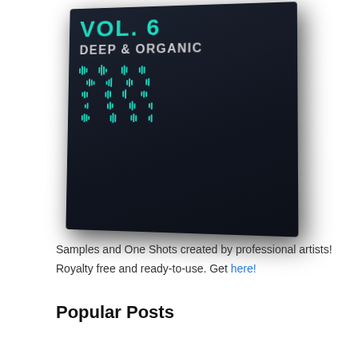[Figure (illustration): A 3D product box with dark background showing 'VOL. 6 DEEP & ORGANIC' with teal/cyan audio waveform graphics arranged in rows on the front face of the box.]
Samples and One Shots created by professional artists! Royalty free and ready-to-use. Get here!
Popular Posts
Top 10 Most Popular VST Instruments